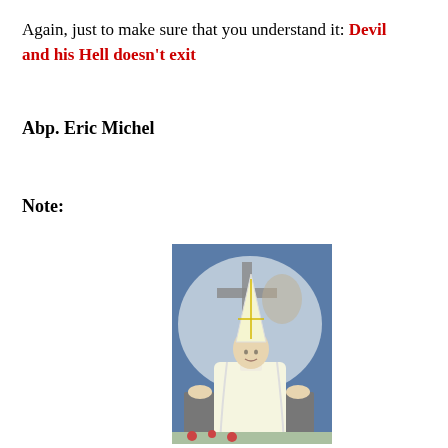Again, just to make sure that you understand it: Devil and his Hell doesn't exit
Abp. Eric Michel
Note:
[Figure (photo): A pope or bishop wearing white vestments and a tall mitre hat, standing at a podium/lectern, with a large decorative backdrop showing a cross and circular religious artwork]